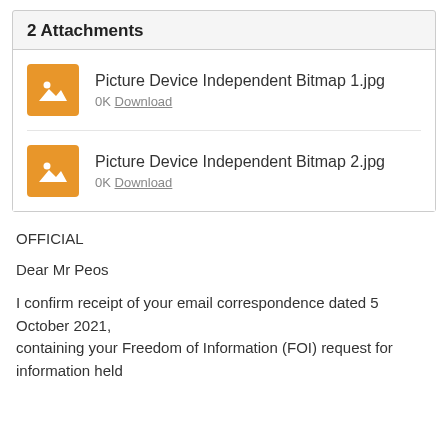2 Attachments
Picture Device Independent Bitmap 1.jpg
0K Download
Picture Device Independent Bitmap 2.jpg
0K Download
OFFICIAL
Dear Mr Peos
I confirm receipt of your email correspondence dated 5 October 2021,
containing your Freedom of Information (FOI) request for information held